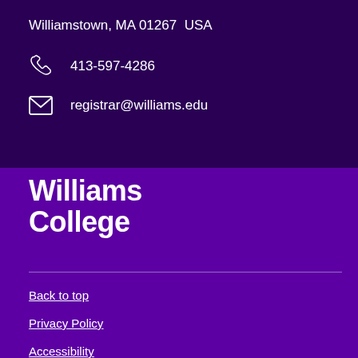Williamstown, MA 01267  USA
413-597-4286
registrar@williams.edu
Williams College
Back to top
Privacy Policy
Accessibility
Comment Form
Log In